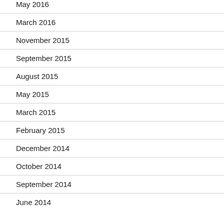May 2016
March 2016
November 2015
September 2015
August 2015
May 2015
March 2015
February 2015
December 2014
October 2014
September 2014
June 2014